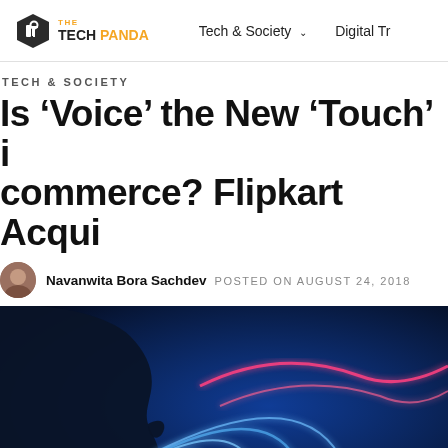THE TECH PANDA | Tech & Society | Digital Tr...
TECH & SOCIETY
Is ‘Voice’ the New ‘Touch’ in e-commerce? Flipkart Acqui...
Navanwita Bora Sachdev  POSTED ON AUGUST 24, 2018
[Figure (photo): Digital illustration of a human face silhouette in profile speaking, with colorful sound waves (blue, white, pink/red) emanating from the mouth against a dark blue background.]